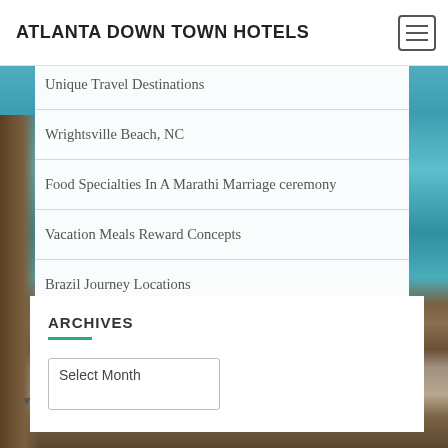ATLANTA DOWN TOWN HOTELS
[Figure (screenshot): Tropical water background with wooden dock/pier and overwater bungalows]
Unique Travel Destinations
Wrightsville Beach, NC
Food Specialties In A Marathi Marriage ceremony
Vacation Meals Reward Concepts
Brazil Journey Locations
ARCHIVES
Select Month